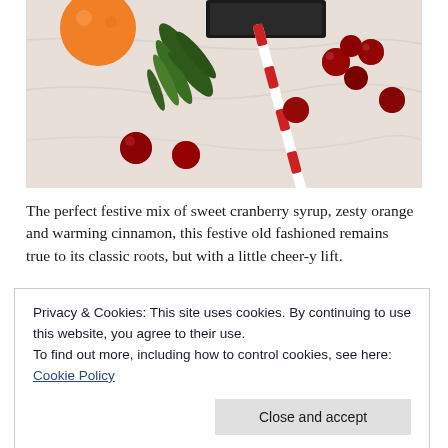[Figure (photo): Holiday/festive flat lay photo showing cranberries, an orange, green rosemary sprigs, and a red-and-white striped paper straw on a white cloth background]
The perfect festive mix of sweet cranberry syrup, zesty orange and warming cinnamon, this festive old fashioned remains true to its classic roots, but with a little cheer-y lift.
Privacy & Cookies: This site uses cookies. By continuing to use this website, you agree to their use.
To find out more, including how to control cookies, see here: Cookie Policy
[Close and accept]